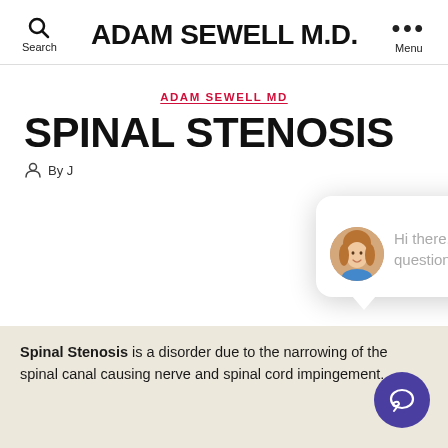ADAM SEWELL M.D.
ADAM SEWELL MD
SPINAL STENOSIS
By J
[Figure (screenshot): Chat popup widget showing a woman's avatar photo and the message: Hi there, have a question? Text us here. With a close button.]
Spinal Stenosis is a disorder due to the narrowing of the spinal canal causing nerve and spinal cord impingement.